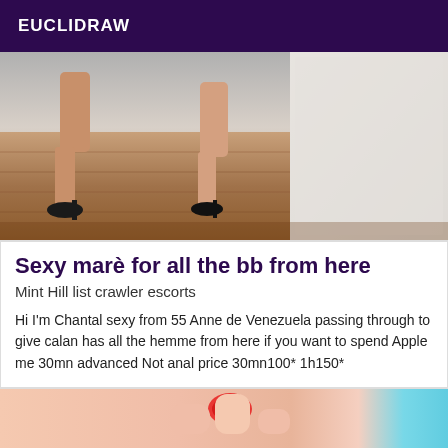EUCLIDRAW
[Figure (photo): A photo showing a person's legs wearing black high-heeled sandals standing on a wooden floor near a bed with a white knit blanket.]
Sexy marè for all the bb from here
Mint Hill list crawler escorts
Hi I'm Chantal sexy from 55 Anne de Venezuela passing through to give calan has all the hemme from here if you want to spend Apple me 30mn advanced Not anal price 30mn100* 1h150*
[Figure (photo): A close-up photo showing a person's hand with red nail polish.]